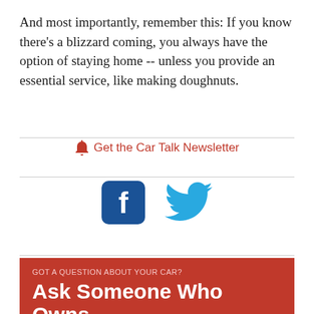And most importantly, remember this: If you know there's a blizzard coming, you always have the option of staying home -- unless you provide an essential service, like making doughnuts.
🔔 Get the Car Talk Newsletter
[Figure (illustration): Facebook and Twitter social media icons]
snow tires   Recent stories   Archives   Browse by tag
GOT A QUESTION ABOUT YOUR CAR?
Ask Someone Who Owns